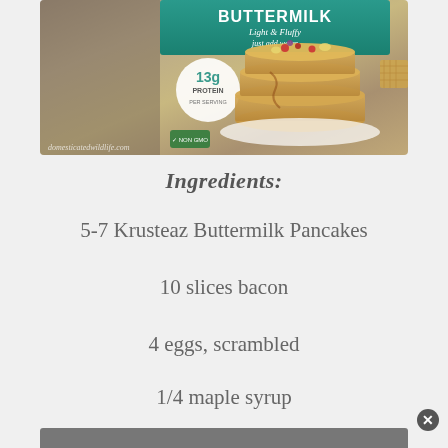[Figure (photo): Krusteaz Buttermilk Pancake mix box showing a stack of pancakes with toppings, label reading 'BUTTERMILK Light & Fluffy just add water' and '13g PROTEIN', with watermark 'domesticatedwildlife.com']
Ingredients:
5-7 Krusteaz Buttermilk Pancakes
10 slices bacon
4 eggs, scrambled
1/4 maple syrup